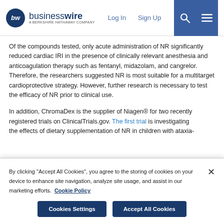businesswire — A Berkshire Hathaway Company | Log In | Sign Up
Of the compounds tested, only acute administration of NR significantly reduced cardiac IRI in the presence of clinically relevant anesthesia and anticoagulation therapy such as fentanyl, midazolam, and cangrelor. Therefore, the researchers suggested NR is most suitable for a multitarget cardioprotective strategy. However, further research is necessary to test the efficacy of NR prior to clinical use.
In addition, ChromaDex is the supplier of Niagen® for two recently registered trials on ClinicalTrials.gov. The first trial is investigating the effects of dietary supplementation of NR in children with ataxia-
By clicking "Accept All Cookies", you agree to the storing of cookies on your device to enhance site navigation, analyze site usage, and assist in our marketing efforts. Cookie Policy
Cookies Settings | Accept All Cookies